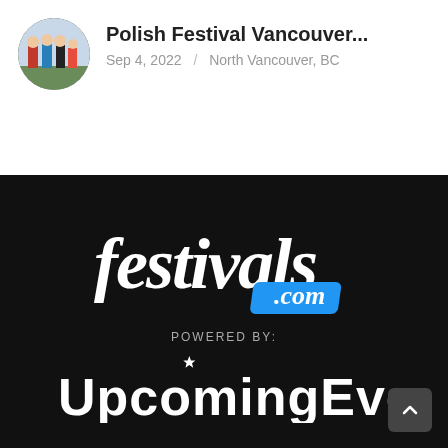[Figure (photo): Circular avatar photo showing people in colorful traditional Polish costumes at a festival]
Polish Festival Vancouver...
Sep 4, 2022  /  North Vancouver, BC
[Figure (logo): festivals.com logo in white italic script with '.com' on a blue banner, on black background]
POWERED BY:
[Figure (logo): UpcomingEvents logo in white block letters on black background]